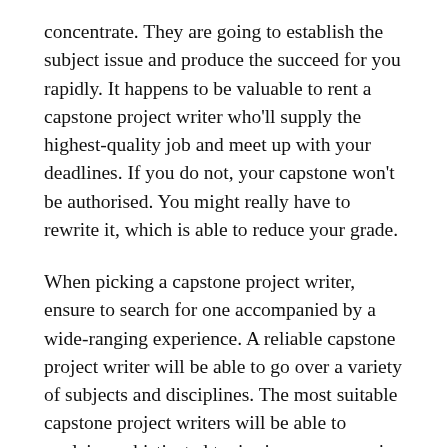concentrate. They are going to establish the subject issue and produce the succeed for you rapidly. It happens to be valuable to rent a capstone project writer who'll supply the highest-quality job and meet up with your deadlines. If you do not, your capstone won't be authorised. You might really have to rewrite it, which is able to reduce your grade.
When picking a capstone project writer, ensure to search for one accompanied by a wide-ranging experience. A reliable capstone project writer will be able to go over a variety of subjects and disciplines. The most suitable capstone project writers will be able to explain sophisticated topics in a very amazing way. So, you might want to continually choose one which has a vast scope and also a superior total price. The capstone project writer need to be able to finish the undertaking fairly quickly. Then, you can target other actions